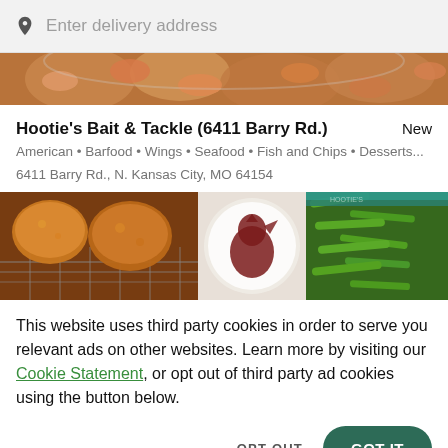Enter delivery address
[Figure (photo): Close-up photo of shrimp/seafood dish]
Hootie's Bait & Tackle (6411 Barry Rd.) New
American • Barfood • Wings • Seafood • Fish and Chips • Desserts...
6411 Barry Rd., N. Kansas City, MO 64154
[Figure (photo): Food spread showing fried chicken, dipping sauce with logo, and green beans]
This website uses third party cookies in order to serve you relevant ads on other websites. Learn more by visiting our Cookie Statement, or opt out of third party ad cookies using the button below.
OPT OUT
GOT IT